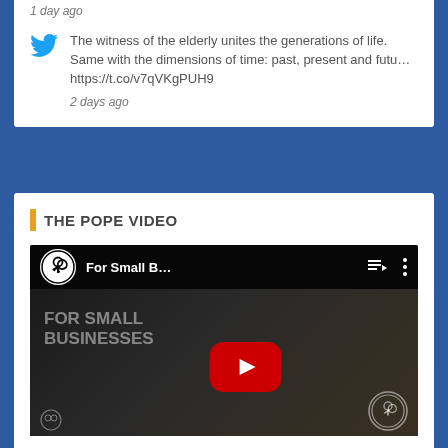1 day ago
The witness of the elderly unites the generations of life. Same with the dimensions of time: past, present and futu… https://t.co/v7qVKgPUH9
2 days ago
THE POPE VIDEO
[Figure (screenshot): YouTube video player thumbnail showing 'For Small B...' video with crossed keys channel icon, FOR SMALL BUSINESSES text overlay, red YouTube play button, and watermark logo in bottom right.]